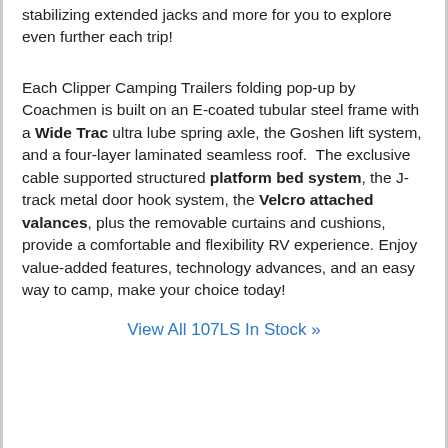stabilizing extended jacks and more for you to explore even further each trip!
Each Clipper Camping Trailers folding pop-up by Coachmen is built on an E-coated tubular steel frame with a Wide Trac ultra lube spring axle, the Goshen lift system, and a four-layer laminated seamless roof.  The exclusive cable supported structured platform bed system, the J-track metal door hook system, the Velcro attached valances, plus the removable curtains and cushions, provide a comfortable and flexibility RV experience. Enjoy value-added features, technology advances, and an easy way to camp, make your choice today!
View All 107LS In Stock »